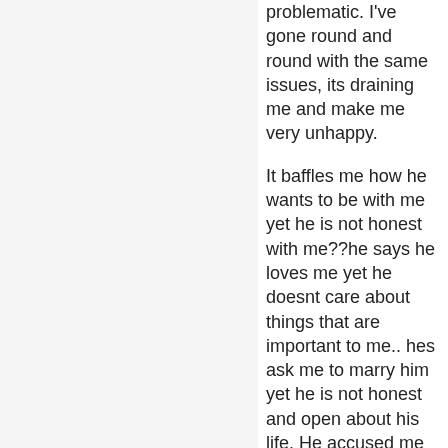problematic. I've gone round and round with the same issues, its draining me and make me very unhappy.

It baffles me how he wants to be with me yet he is not honest with me??he says he loves me yet he doesnt care about things that are important to me.. hes ask me to marry him yet he is not honest and open about his life. He accused me of being selfish when i told him that we dont have a good foundation for marriage because of issues he wont discuss.

U are right to say I deserve someone better, my family says im